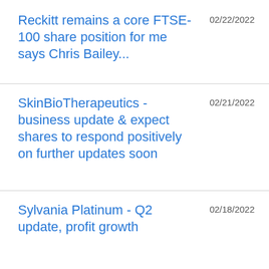Reckitt remains a core FTSE-100 share position for me says Chris Bailey...
SkinBioTherapeutics - business update & expect shares to respond positively on further updates soon
Sylvania Platinum - Q2 update, profit growth